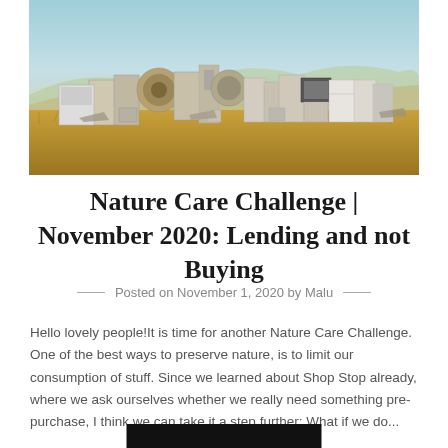[Figure (photo): Outdoor scene with a large pile of discarded appliances, electronics, and junk items arranged in a desert/dry grassland landscape under a pale blue sky.]
Nature Care Challenge | November 2020: Lending and not Buying
Posted on November 1, 2020 by Malu
Hello lovely people!It is time for another Nature Care Challenge. One of the best ways to preserve nature, is to limit our consumption of stuff. Since we learned about Shop Stop already, where we ask ourselves whether we really need something pre-purchase, I think we can take it a step further: What if we do...